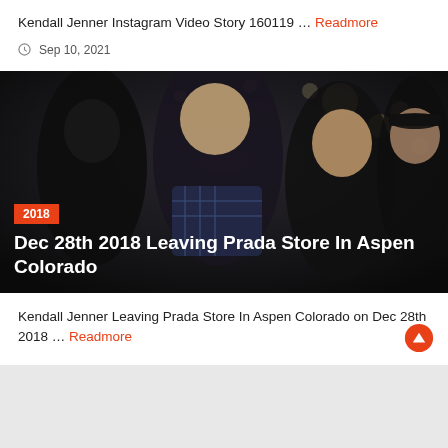Kendall Jenner Instagram Video Story 160119 … Readmore
Sep 10, 2021
[Figure (photo): Kendall Jenner, Kanye West, and Kim Kardashian photographed outside at night with crowd behind them. Year badge '2018' shown in bottom left corner. Title overlay: 'Dec 28th 2018 Leaving Prada Store In Aspen Colorado']
Kendall Jenner Leaving Prada Store In Aspen Colorado on Dec 28th 2018 … Readmore